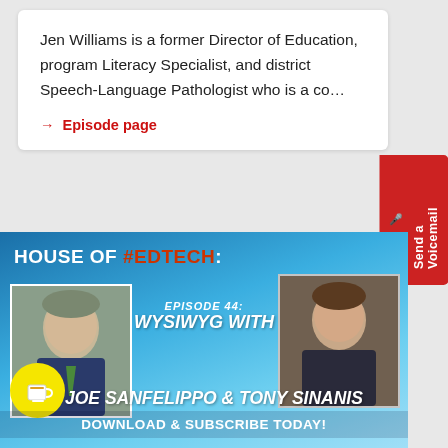Jen Williams is a former Director of Education, program Literacy Specialist, and district Speech-Language Pathologist who is a co…
→ Episode page
[Figure (infographic): House of #EdTech podcast banner featuring Episode 44: WYSIWYG With Joe Sanfelippo & Tony Sinanis. Blue gradient background with two headshot photos and yellow coffee cup circle. Download & Subscribe Today text at bottom.]
Send a Voicemail